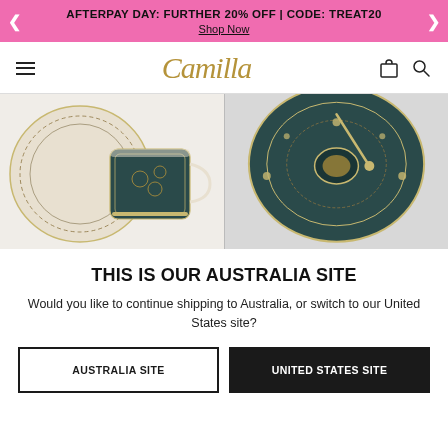AFTERPAY DAY: FURTHER 20% OFF | CODE: TREAT20
Shop Now
[Figure (screenshot): Camilla brand logo in gold italic script]
[Figure (photo): Two-panel product photo: left shows decorative patterned teacup and saucer with gold and dark teal design; right shows close-up of the saucer from above with gold footed base]
THIS IS OUR AUSTRALIA SITE
Would you like to continue shipping to Australia, or switch to our United States site?
AUSTRALIA SITE
UNITED STATES SITE